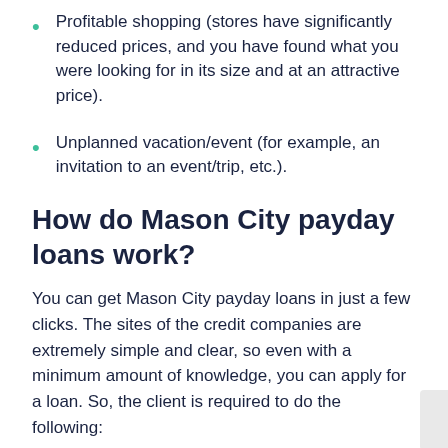Profitable shopping (stores have significantly reduced prices, and you have found what you were looking for in its size and at an attractive price).
Unplanned vacation/event (for example, an invitation to an event/trip, etc.).
How do Mason City payday loans work?
You can get Mason City payday loans in just a few clicks. The sites of the credit companies are extremely simple and clear, so even with a minimum amount of knowledge, you can apply for a loan. So, the client is required to do the following:
You need to choose a company that you plan to cooperate with. In this case, the clients' reviews will help you to form an opinion about the company. You also need to study the credit conditions and repayment...